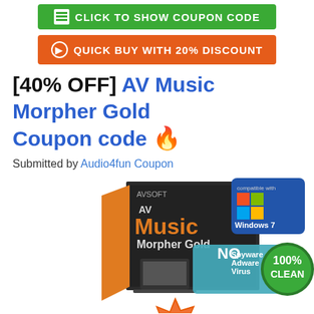[Figure (other): Green button: CLICK TO SHOW COUPON CODE]
[Figure (other): Orange button: QUICK BUY WITH 20% DISCOUNT]
[40% OFF] AV Music Morpher Gold Coupon code 🔥
Submitted by Audio4fun Coupon
[Figure (photo): AV Music Morpher Gold software box image with Windows 7 compatible badge, NO Spyware Adware Virus badge, 100% CLEAN badge, and 40% off starburst seal]